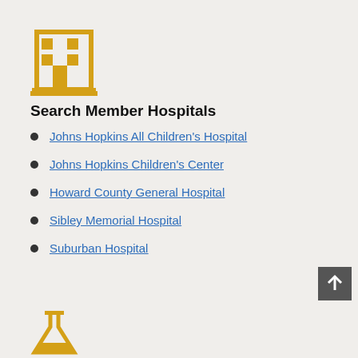[Figure (illustration): Yellow building/hospital icon with windows and door]
Search Member Hospitals
Johns Hopkins All Children's Hospital
Johns Hopkins Children's Center
Howard County General Hospital
Sibley Memorial Hospital
Suburban Hospital
[Figure (illustration): Back to top arrow button, dark gray square with upward arrow]
[Figure (illustration): Yellow flask/laboratory beaker icon, partially visible at bottom]